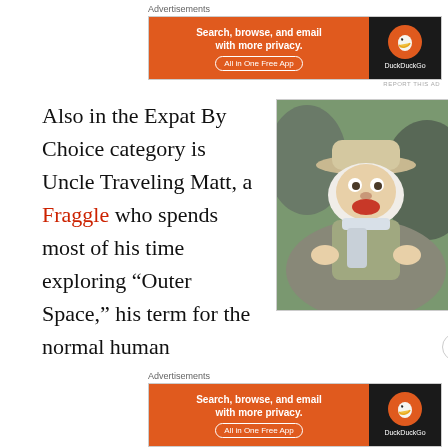Advertisements
[Figure (screenshot): DuckDuckGo advertisement banner: orange background with text 'Search, browse, and email with more privacy. All in One Free App' and DuckDuckGo logo on dark background]
REPORT THIS AD
Also in the Expat By Choice category is Uncle Traveling Matt, a Fraggle who spends most of his time exploring “Outer Space,” his term for the normal human
[Figure (photo): Photo of Uncle Traveling Matt, a Muppet/Fraggle character wearing an explorer's hat and safari outfit, seated against rocks]
Advertisements
[Figure (screenshot): DuckDuckGo advertisement banner (bottom): orange background with text 'Search, browse, and email with more privacy. All in One Free App' and DuckDuckGo logo on dark background]
REPORT THIS AD